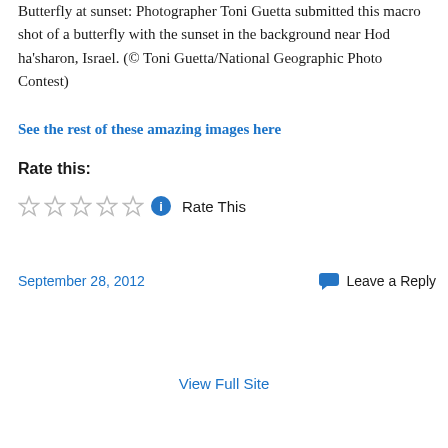Butterfly at sunset: Photographer Toni Guetta submitted this macro shot of a butterfly with the sunset in the background near Hod ha'sharon, Israel. (© Toni Guetta/National Geographic Photo Contest)
See the rest of these amazing images here
Rate this:
Rate This
September 28, 2012
Leave a Reply
View Full Site